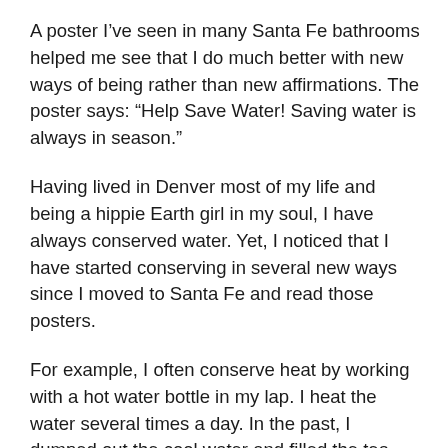A poster I’ve seen in many Santa Fe bathrooms helped me see that I do much better with new ways of being rather than new affirmations. The poster says: “Help Save Water! Saving water is always in season.”
Having lived in Denver most of my life and being a hippie Earth girl in my soul, I have always conserved water. Yet, I noticed that I have started conserving in several new ways since I moved to Santa Fe and read those posters.
For example, I often conserve heat by working with a hot water bottle in my lap. I heat the water several times a day. In the past, I dumped out the cool water and filled the tea kettle with new water. After reading the posters, I automatically started dumping the water in the water bottle back into the tea kettle – reusing the same water all day. And now, each morning when I give my cat, Jasmine, fresh water in her water bowl, I water a plant